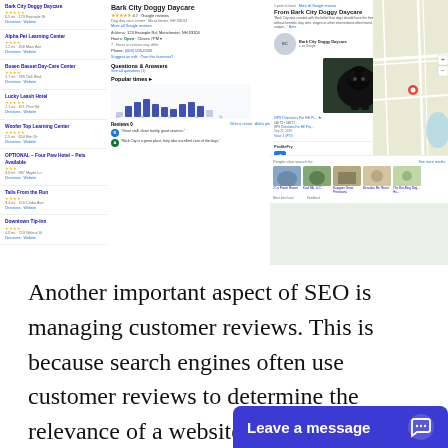[Figure (screenshot): Google Maps / Google Business Profile screenshot showing dog daycare search results. Left panel shows a list of business results including 'Bark City Doggy Daycare' and similar businesses. Center panel shows the Google Business Profile for 'Bark City Doggy Daycare' with star rating, address, hours, popular times chart, and customer reviews. Right panel shows a business card with a photo of a black dog and a map panel with nearby businesses and 'People also search for' suggestions.]
Another important aspect of SEO is managing customer reviews. This is because search engines often use customer reviews to determine the relevance of a website. As such, it is important to ensure that your website has positive customer reviews. You can do this by monitoring
[Figure (other): Blue 'Leave a message' chat button overlay at bottom right of page]